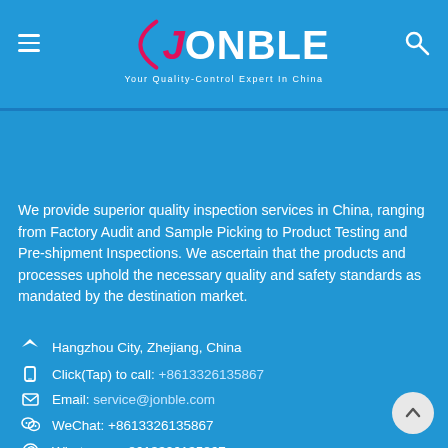JONBLE - Your Quality-Control Expert In China
We provide superior quality inspection services in China, ranging from Factory Audit and Sample Picking to Product Testing and Pre-shipment Inspections. We ascertain that the products and processes uphold the necessary quality and safety standards as mandated by the destination market.
Hangzhou City, Zhejiang, China
Click(Tap) to call: +8613326135867
Email: service@jonble.com
WeChat: +8613326135867
Whatsapp: +8613326135867